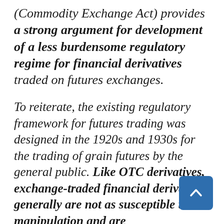(Commodity Exchange Act) provides a strong argument for development of a less burdensome regulatory regime for financial derivatives traded on futures exchanges.
To reiterate, the existing regulatory framework for futures trading was designed in the 1920s and 1930s for the trading of grain futures by the general public. Like OTC derivatives, exchange-traded financial derivatives generally are not as susceptible to manipulation and are